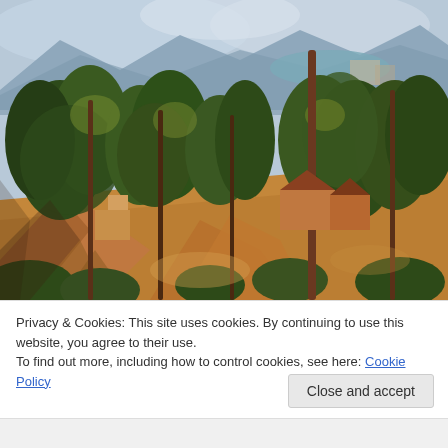[Figure (illustration): Post-impressionist landscape painting (Cézanne style) showing trees, rocky terrain, and buildings with mountains and blue sky in the background. Dominant greens, oranges, and browns.]
Privacy & Cookies: This site uses cookies. By continuing to use this website, you agree to their use.
To find out more, including how to control cookies, see here: Cookie Policy
Close and accept
Follow ...